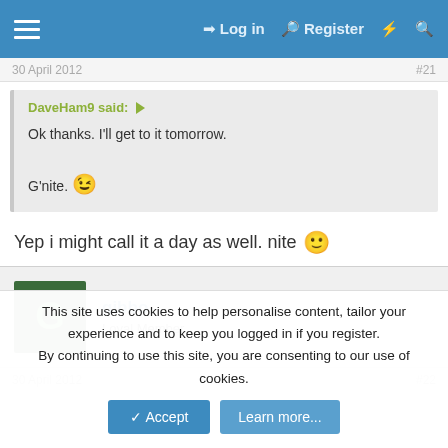≡  Log in  Register  ⚡  🔍
30 April 2012  #21
DaveHam9 said: ▶
Ok thanks. I'll get to it tomorrow.

G'nite. 😉
Yep i might call it a day as well. nite 🙂
gibbo
Loyal Member
30 April 2012  #22
This site uses cookies to help personalise content, tailor your experience and to keep you logged in if you register.
By continuing to use this site, you are consenting to our use of cookies.